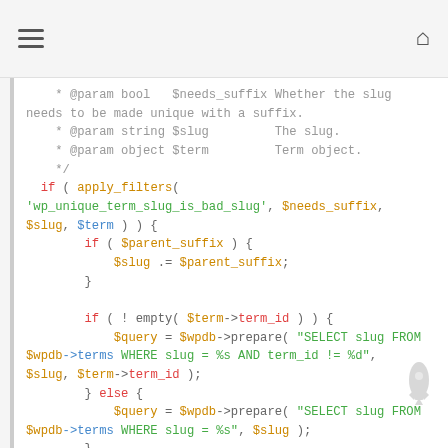≡  🏠
Code snippet showing PHP WordPress function with apply_filters, $wpdb->prepare, and SQL queries for unique term slug checking